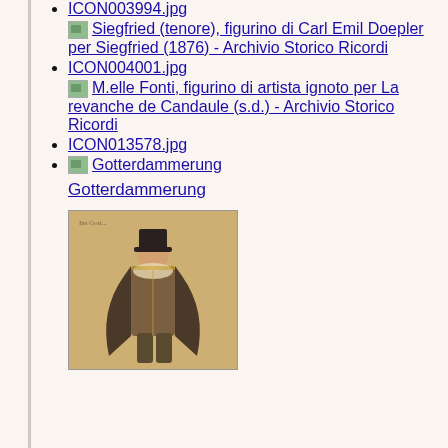ICON003994.jpg Siegfried (tenore), figurino di Carl Emil Doepler per Siegfried (1876) - Archivio Storico Ricordi
ICON004001.jpg M.elle Fonti, figurino di artista ignoto per La revanche de Candaule (s.d.) - Archivio Storico Ricordi
ICON013578.jpg
Gotterdammerung
Gotterdammerung
[Figure (photo): A historical figurino (costume sketch) showing a person in period dress with a top hat and elaborate costume, from the Archivio Storico Ricordi collection.]